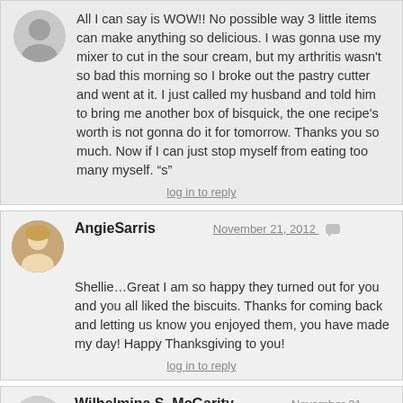All I can say is WOW!! No possible way 3 little items can make anything so delicious. I was gonna use my mixer to cut in the sour cream, but my arthritis wasn't so bad this morning so I broke out the pastry cutter and went at it. I just called my husband and told him to bring me another box of bisquick, the one recipe's worth is not gonna do it for tomorrow. Thanks you so much. Now if I can just stop myself from eating too many myself. “s”
log in to reply
AngieSarris
November 21, 2012
Shellie…Great I am so happy they turned out for you and you all liked the biscuits. Thanks for coming back and letting us know you enjoyed them, you have made my day! Happy Thanksgiving to you!
log in to reply
Wilhelmina S. McGarity
November 21, 2012
Angie, just made these for dinner, with sausage gravy. I thought I had died and gone to heaven:) I have tried many, many biscuit recipes in my many years of cooking and never, ever had any kind of